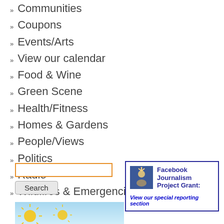Communities
Coupons
Events/Arts
View our calendar
Food & Wine
Green Scene
Health/Fitness
Homes & Gardens
People/Views
Politics
Radio
Wildfires & Emergencies
[Figure (screenshot): Search box with orange border and Search button below]
[Figure (infographic): Facebook Journalism Project Grant box with blue border, Facebook icon, title and link text: View our special reporting section]
[Figure (illustration): Weather widget with light blue background, sun icon]